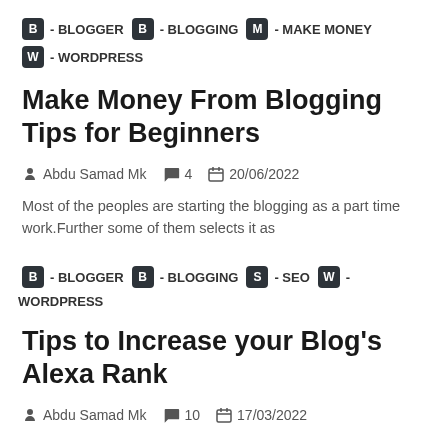B - BLOGGER  B - BLOGGING  M - MAKE MONEY  W - WORDPRESS
Make Money From Blogging Tips for Beginners
Abdu Samad Mk  4  20/06/2022
Most of the peoples are starting the blogging as a part time work.Further some of them selects it as
B - BLOGGER  B - BLOGGING  S - SEO  W - WORDPRESS
Tips to Increase your Blog’s Alexa Rank
Abdu Samad Mk  10  17/03/2022